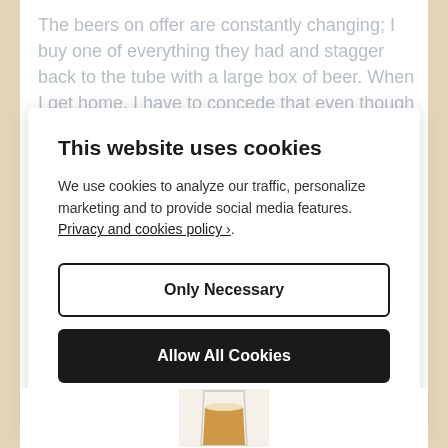The beers on offer are constantly changing; I buy one of everything they had and stagger back to the tube with a large box of beer. When I get home, I have to concede that even though most of the bottles are small 330ml ones, there's no way I can try everything...
This website uses cookies
We use cookies to analyze our traffic, personalize marketing and to provide social media features. Privacy and cookies policy ›.
Only Necessary
Allow All Cookies
Configure Settings ›
[Figure (photo): Bottom portion of a beer glass with amber/golden beer visible]